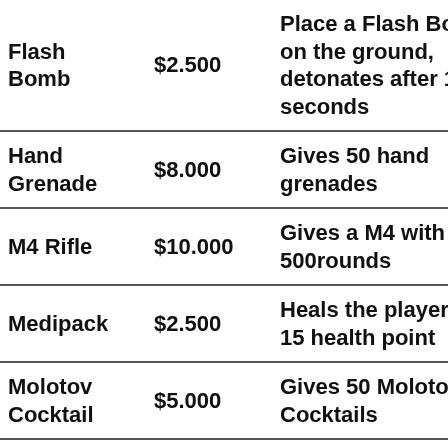| Item | Price | Description |
| --- | --- | --- |
| Flash Bomb | $2.500 | Place a Flash Bomb on the ground, detonates after 15 seconds |
| Hand Grenade | $8.000 | Gives 50 hand grenades |
| M4 Rifle | $10.000 | Gives a M4 with 500rounds |
| Medipack | $2.500 | Heals the player for 15 health point |
| Molotov Cocktail | $5.000 | Gives 50 Molotov Cocktails |
|  |  | Gives a MP5 SMG with |